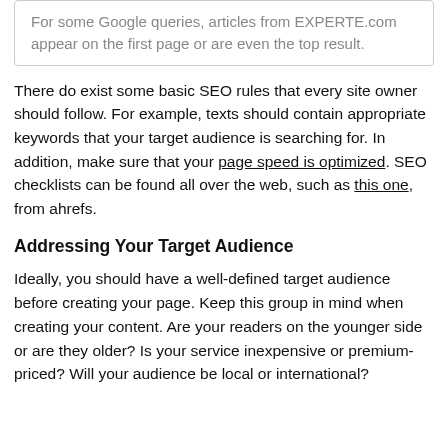For some Google queries, articles from EXPERTE.com appear on the first page or are even the top result.
There do exist some basic SEO rules that every site owner should follow. For example, texts should contain appropriate keywords that your target audience is searching for. In addition, make sure that your page speed is optimized. SEO checklists can be found all over the web, such as this one, from ahrefs.
Addressing Your Target Audience
Ideally, you should have a well-defined target audience before creating your page. Keep this group in mind when creating your content. Are your readers on the younger side or are they older? Is your service inexpensive or premium-priced? Will your audience be local or international?